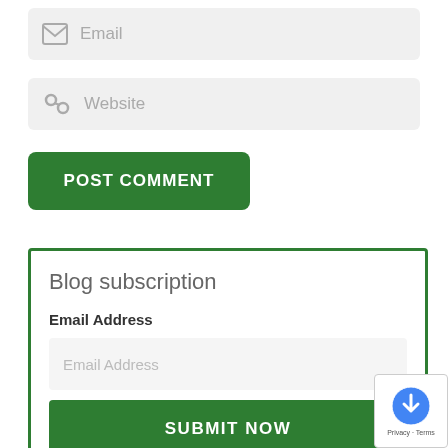[Figure (screenshot): Email input field with envelope icon and placeholder text 'Email']
[Figure (screenshot): Website input field with link/chain icon and placeholder text 'Website']
POST COMMENT
Blog subscription
Email Address
[Figure (screenshot): Email Address input field with placeholder text 'Email Address']
SUBMIT NOW
[Figure (logo): reCAPTCHA badge with logo and Privacy - Terms text]